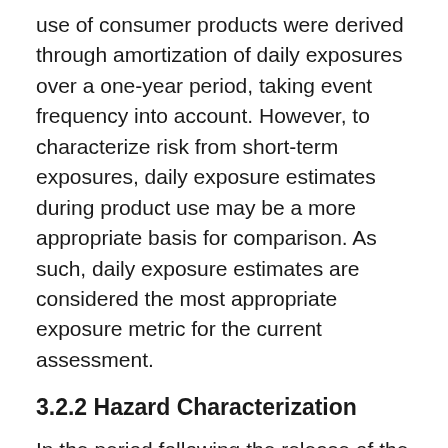use of consumer products were derived through amortization of daily exposures over a one-year period, taking event frequency into account. However, to characterize risk from short-term exposures, daily exposure estimates during product use may be a more appropriate basis for comparison. As such, daily exposure estimates are considered the most appropriate exposure metric for the current assessment.
3.2.2 Hazard Characterization
In the period following the release of the 2000 SoS Report, a number of studies have